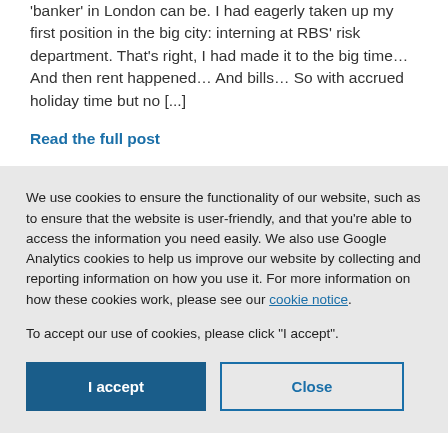'banker' in London can be. I had eagerly taken up my first position in the big city: interning at RBS' risk department. That's right, I had made it to the big time… And then rent happened… And bills… So with accrued holiday time but no [...]
Read the full post
We use cookies to ensure the functionality of our website, such as to ensure that the website is user-friendly, and that you're able to access the information you need easily. We also use Google Analytics cookies to help us improve our website by collecting and reporting information on how you use it. For more information on how these cookies work, please see our cookie notice.
To accept our use of cookies, please click "I accept".
I accept
Close